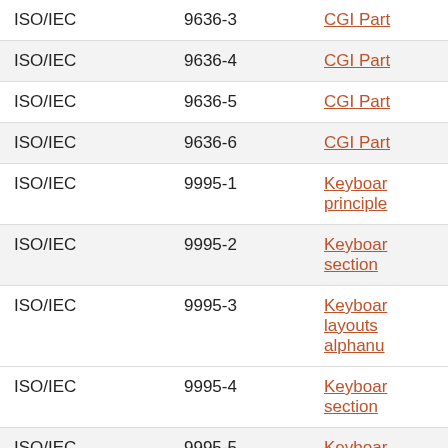| ISO/IEC | 9636-3 | CGI Part |
| ISO/IEC | 9636-4 | CGI Part |
| ISO/IEC | 9636-5 | CGI Part |
| ISO/IEC | 9636-6 | CGI Part |
| ISO/IEC | 9995-1 | Keyboard principles |
| ISO/IEC | 9995-2 | Keyboard section |
| ISO/IEC | 9995-3 | Keyboard layouts alphanu |
| ISO/IEC | 9995-4 | Keyboard section |
| ISO/IEC | 9995-5 | Keyboard function |